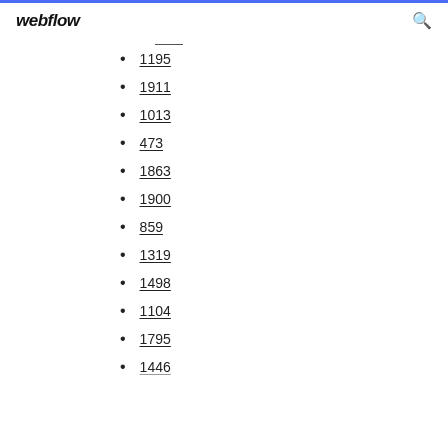webflow
1195
1911
1013
473
1863
1900
859
1319
1498
1104
1795
1446